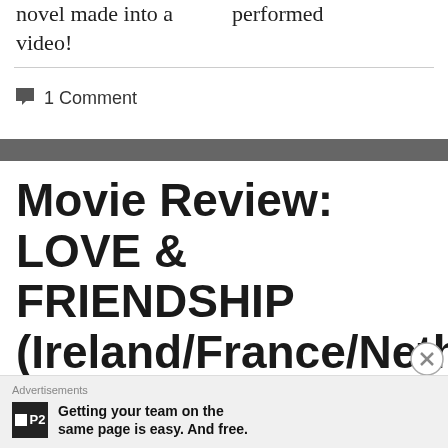novel made into a video!
performed
1 Comment
Movie Review: LOVE & FRIENDSHIP (Ireland/France/Netherla...
Advertisements — Getting your team on the same page is easy. And free.